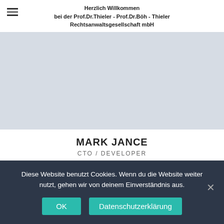Herzlich Willkommen
bei der Prof.Dr.Thieler - Prof.Dr.Böh - Thieler
Rechtsanwaltsgesellschaft mbH
[Figure (photo): Light gray rectangular hero image placeholder]
MARK JANCE
CTO / DEVELOPER
[Figure (infographic): Three circular social media icons: Facebook (blue), Twitter (light blue), Pinterest (red)]
Diese Website benutzt Cookies. Wenn du die Website weiter nutzt, gehen wir von deinem Einverständnis aus.
OK   Datenschutzerklärung